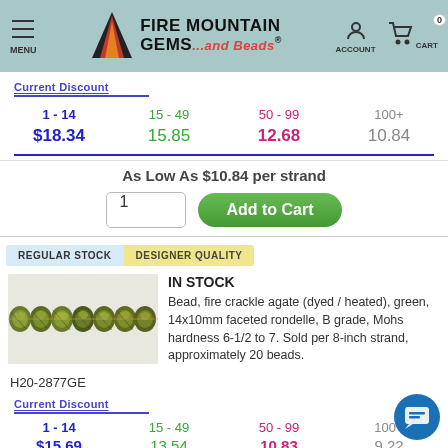MENU | FIRE MOUNTAIN GEMS and Beads | ACCOUNT | CART 0
Current Discount
| 1 - 14 | 15 - 49 | 50 - 99 | 100+ |
| --- | --- | --- | --- |
| $18.34 | 15.85 | 12.68 | 10.84 |
As Low As $10.84 per strand
1  Add to Cart
REGULAR STOCK   DESIGNER QUALITY
IN STOCK
Bead, fire crackle agate (dyed / heated), green, 14x10mm faceted rondelle, B grade, Mohs hardness 6-1/2 to 7. Sold per 8-inch strand, approximately 20 beads.
[Figure (photo): Row of green fire crackle agate faceted rondelle beads on a strand]
H20-2877GE
Current Discount
| 1 - 14 | 15 - 49 | 50 - 99 | 100+ |
| --- | --- | --- | --- |
| $15.69 | 13.54 | 10.83 | 9.22 |